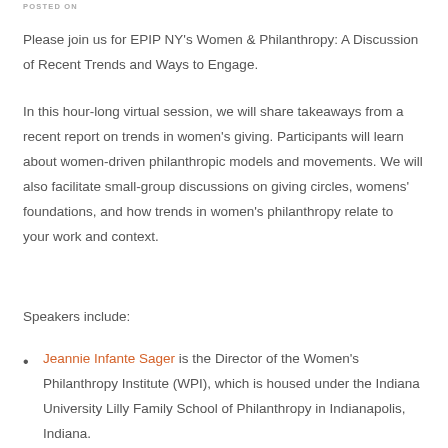POSTED ON
Please join us for EPIP NY's Women & Philanthropy: A Discussion of Recent Trends and Ways to Engage.
In this hour-long virtual session, we will share takeaways from a recent report on trends in women's giving. Participants will learn about women-driven philanthropic models and movements. We will also facilitate small-group discussions on giving circles, womens' foundations, and how trends in women's philanthropy relate to your work and context.
Speakers include:
Jeannie Infante Sager is the Director of the Women's Philanthropy Institute (WPI), which is housed under the Indiana University Lilly Family School of Philanthropy in Indianapolis, Indiana.